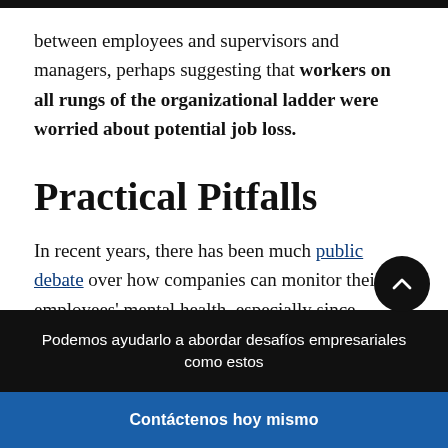between employees and supervisors and managers, perhaps suggesting that workers on all rungs of the organizational ladder were worried about potential job loss.
Practical Pitfalls
In recent years, there has been much public debate over how companies can monitor their employees' mental health, especially since depression can be one of America's most costly health conditions to
Podemos ayudarlo a abordar desafíos empresariales como estos
Contáctenos hoy mismo